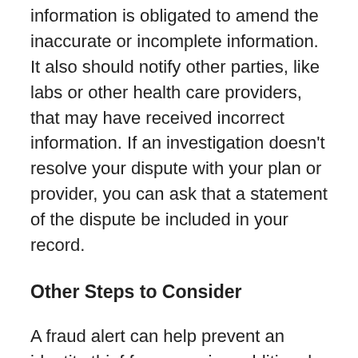information is obligated to amend the inaccurate or incomplete information. It also should notify other parties, like labs or other health care providers, that may have received incorrect information. If an investigation doesn't resolve your dispute with your plan or provider, you can ask that a statement of the dispute be included in your record.
Other Steps to Consider
A fraud alert can help prevent an identity thief from opening additional accounts in your name. Contact the toll-free fraud number of any one of the three nationwide credit reporting companies to place a fraud